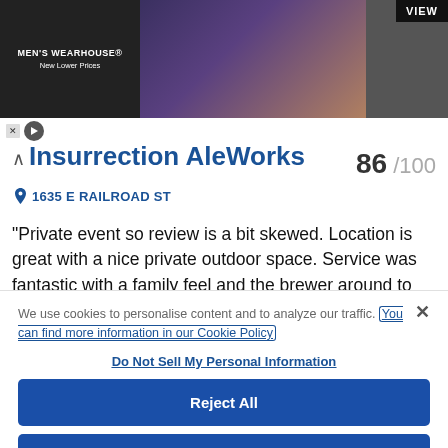[Figure (screenshot): Men's Wearhouse advertisement banner with text 'MEN'S WEARHOUSE New Lower Prices' and a couple in formal wear, with a 'VIEW' button]
Insurrection AleWorks  86 /100
1635 E RAILROAD ST
“Private event so review is a bit skewed. Location is great with a nice private outdoor space. Service was fantastic with a family feel and the brewer around to chat. Beers were pretty solid at worst and a free were
We use cookies to personalise content and to analyze our traffic. You can find more information in our Cookie Policy
Do Not Sell My Personal Information
Reject All
Accept Cookies